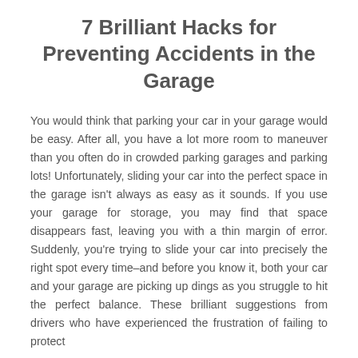7 Brilliant Hacks for Preventing Accidents in the Garage
You would think that parking your car in your garage would be easy. After all, you have a lot more room to maneuver than you often do in crowded parking garages and parking lots! Unfortunately, sliding your car into the perfect space in the garage isn't always as easy as it sounds. If you use your garage for storage, you may find that space disappears fast, leaving you with a thin margin of error. Suddenly, you're trying to slide your car into precisely the right spot every time–and before you know it, both your car and your garage are picking up dings as you struggle to hit the perfect balance. These brilliant suggestions from drivers who have experienced the frustration of failing to protect